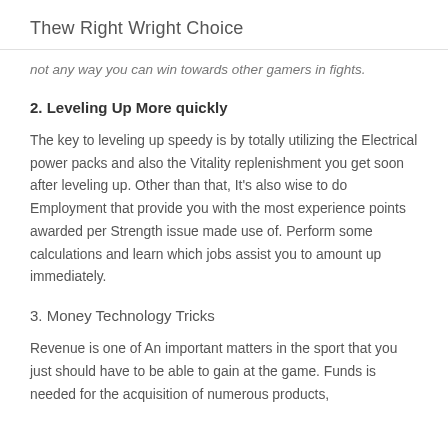Thew Right Wright Choice
not any way you can win towards other gamers in fights.
2. Leveling Up More quickly
The key to leveling up speedy is by totally utilizing the Electrical power packs and also the Vitality replenishment you get soon after leveling up. Other than that, It's also wise to do Employment that provide you with the most experience points awarded per Strength issue made use of. Perform some calculations and learn which jobs assist you to amount up immediately.
3. Money Technology Tricks
Revenue is one of An important matters in the sport that you just should have to be able to gain at the game. Funds is needed for the acquisition of numerous products,